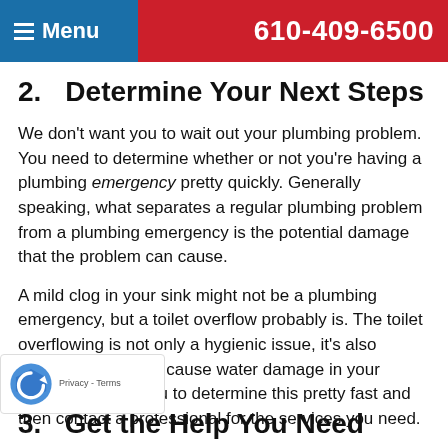≡ Menu   610-409-6500
2.   Determine Your Next Steps
We don't want you to wait out your plumbing problem. You need to determine whether or not you're having a plumbing emergency pretty quickly. Generally speaking, what separates a regular plumbing problem from a plumbing emergency is the potential damage that the problem can cause.
A mild clog in your sink might not be a plumbing emergency, but a toilet overflow probably is. The toilet overflowing is not only a hygienic issue, it's also something that can cause water damage in your home. We want you to determine this pretty fast and then contact a professional for the services you need.
3.   Get the Help You Need